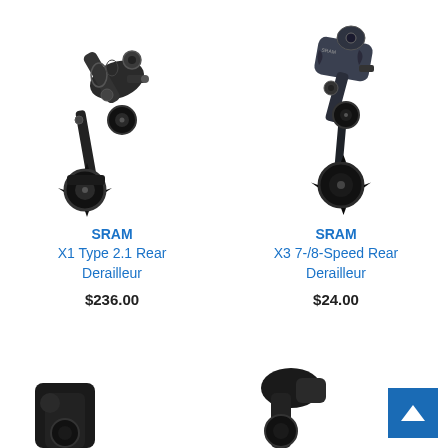[Figure (photo): SRAM X1 Type 2.1 Rear Derailleur product photo, black metal bicycle component]
SRAM
X1 Type 2.1 Rear Derailleur
$236.00
[Figure (photo): SRAM X3 7-/8-Speed Rear Derailleur product photo, dark grey/black bicycle component]
SRAM
X3 7-/8-Speed Rear Derailleur
$24.00
[Figure (photo): Partial product photo at bottom left, black bicycle component partially visible]
[Figure (photo): Partial product photo at bottom right, black bicycle component partially visible]